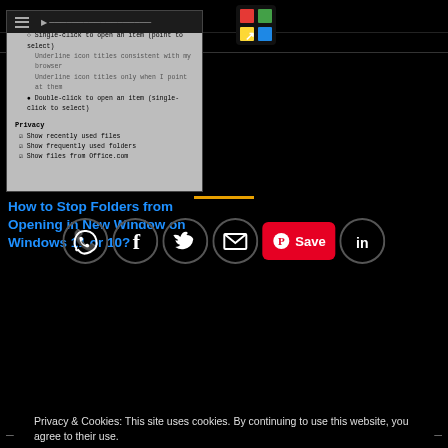[Figure (screenshot): Screenshot of Windows Folder Options dialog showing click behavior and privacy settings]
[Figure (logo): Colorful square logo with arrow icon in top right area]
How to Stop Folders from Opening in New Window on Windows 11 or 10?
[Figure (infographic): Row of social share icons: WhatsApp, Facebook, Twitter, Email, Pinterest Save, LinkedIn]
Privacy & Cookies: This site uses cookies. By continuing to use this website, you agree to their use.